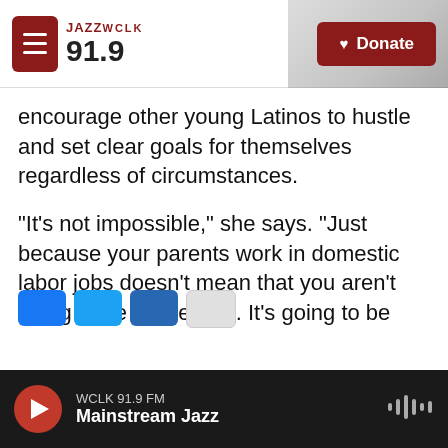JAZZ WCLK 91.9 | Donate
encourage other young Latinos to hustle and set clear goals for themselves regardless of circumstances.
"It's not impossible," she says. "Just because your parents work in domestic labor jobs doesn't mean that you aren't going to be successful. It's going to be hard, but everything is possible. And never forget where you come from."
Copyright 2021 NPR. To see more, visit https://www.npr.org.
WCLK 91.9 FM Mainstream Jazz